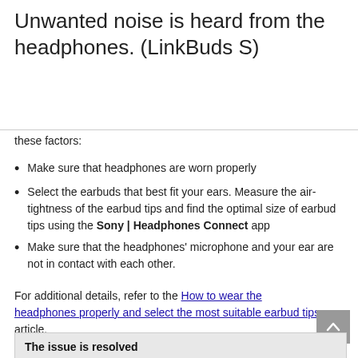Unwanted noise is heard from the headphones. (LinkBuds S)
these factors:
Make sure that headphones are worn properly
Select the earbuds that best fit your ears. Measure the air-tightness of the earbud tips and find the optimal size of earbud tips using the Sony | Headphones Connect app
Make sure that the headphones' microphone and your ear are not in contact with each other.
For additional details, refer to the How to wear the headphones properly and select the most suitable earbud tips article.
The issue is resolved